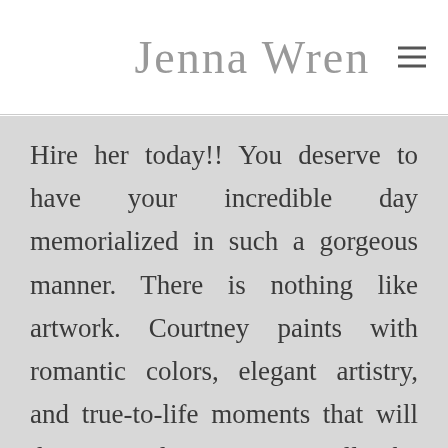Jenna Wren
Hire her today!! You deserve to have your incredible day memorialized in such a gorgeous manner. There is nothing like artwork. Courtney paints with romantic colors, elegant artistry, and true-to-life moments that will deserve a place on your wall. The selections she paints from your day are often the ones that are the most meaningful…your first dance, at the altar, or a